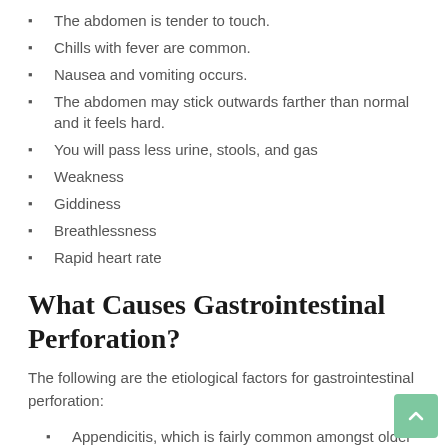The abdomen is tender to touch.
Chills with fever are common.
Nausea and vomiting occurs.
The abdomen may stick outwards farther than normal and it feels hard.
You will pass less urine, stools, and gas
Weakness
Giddiness
Breathlessness
Rapid heart rate
What Causes Gastrointestinal Perforation?
The following are the etiological factors for gastrointestinal perforation:
Appendicitis, which is fairly common amongst older individuals.
Diverticulitis